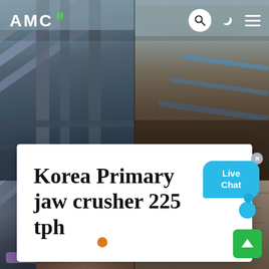[Figure (screenshot): AMC website screenshot showing a header with AMC logo and navigation icons (search, dark mode, menu), a full-width background of industrial crushing/mining equipment photos in a 2x2 grid layout, a white card overlay with the title 'Korea Primary jaw crusher 225 tph', a live chat bubble, carousel dots indicator, and a scroll-up button]
AMC
Korea Primary jaw crusher 225 tph